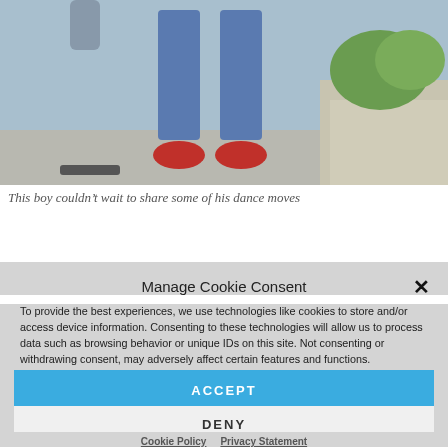[Figure (photo): Photo of a boy's legs wearing blue jeans and red shoes/crocs, jumping or dancing outdoors on pavement]
This boy couldn't wait to share some of his dance moves
Manage Cookie Consent
To provide the best experiences, we use technologies like cookies to store and/or access device information. Consenting to these technologies will allow us to process data such as browsing behavior or unique IDs on this site. Not consenting or withdrawing consent, may adversely affect certain features and functions.
ACCEPT
DENY
Cookie Policy   Privacy Statement